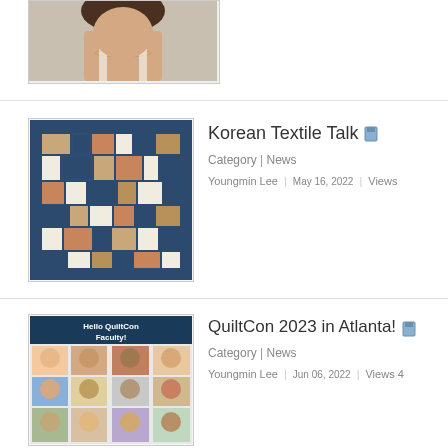[Figure (photo): Partial photo of a person (woman with dark hair and necklace), cropped at top of page, inside a bordered thumbnail frame]
[Figure (photo): Photograph of a quilt with a geometric pattern in navy blue, rust/orange, beige, and white colors, arranged in rectangular blocks, inside a bordered thumbnail frame]
Korean Textile Talk
Category | News
Youngmin Lee | May 16, 2022 | Views
[Figure (photo): Photo grid titled 'Hello QuiltCon Faculty!' showing a collage of portraits of diverse people, resembling a QuiltCon 2023 faculty announcement image]
QuiltCon 2023 in Atlanta!
Category | News
Youngmin Lee | Jun 06, 2022 | Views 4